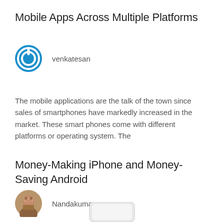Mobile Apps Across Multiple Platforms
[Figure (illustration): Blue circular power/user avatar icon for author venkatesan]
venkatesan
The mobile applications are the talk of the town since sales of smartphones have markedly increased in the market. These smart phones come with different platforms or operating system. The
Money-Making iPhone and Money-Saving Android
[Figure (photo): Circular profile photo of author Nandakumar]
Nandakumar
[Figure (photo): Partial view of a smartphone at the bottom of the page]